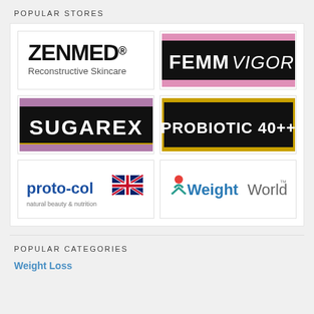POPULAR STORES
[Figure (logo): ZENMED Reconstructive Skincare logo - black text on white background]
[Figure (logo): FEMM VIGOR logo - white text on black with pink stripes]
[Figure (logo): SUGAREX logo - white bold text on black with purple and gold stripes]
[Figure (logo): PROBIOTIC 40++ logo - white bold text on black with gold border]
[Figure (logo): proto-col natural beauty and nutrition logo with UK flag]
[Figure (logo): WeightWorld TM logo in teal and gray]
POPULAR CATEGORIES
Weight Loss